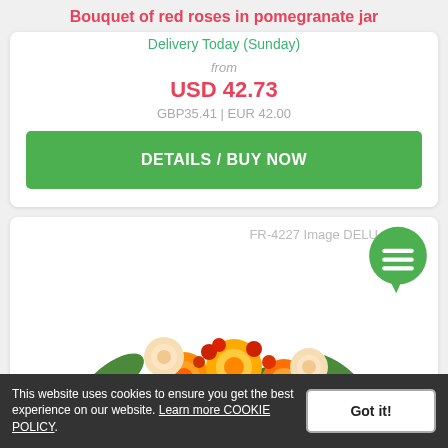Bouquet of red roses in pomegranate jar
Delivery Today (Sunday)
from
USD 42.73
GBP35.41 | EUR 42.00
DETAILS / BUY NOW
[Figure (photo): Flower bouquet with orange and red roses, watermark text FR-4227 Image DELU, green chat bubble icon overlay]
This website uses cookies to ensure you get the best experience on our website. Learn more COOKIE POLICY. Got it!